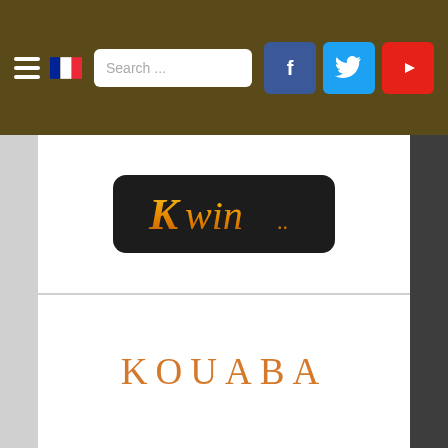Navigation header with hamburger menu, French flag, search box, and social media icons (Facebook, Twitter, YouTube)
[Figure (logo): Kwin logo: yellow/orange stylized text 'Kwin' on a dark rounded rectangle background]
[Figure (logo): KOUABA text logo in orange serif spaced lettering]